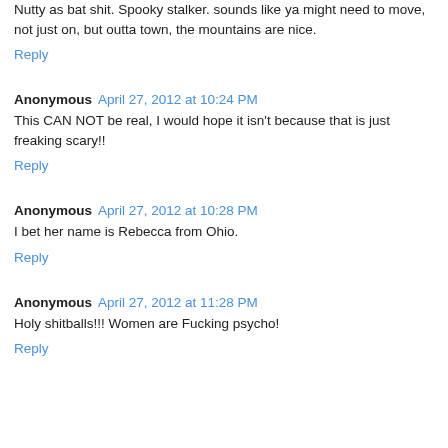Nutty as bat shit. Spooky stalker. sounds like ya might need to move, not just on, but outta town, the mountains are nice.
Reply
Anonymous April 27, 2012 at 10:24 PM
This CAN NOT be real, I would hope it isn't because that is just freaking scary!!
Reply
Anonymous April 27, 2012 at 10:28 PM
I bet her name is Rebecca from Ohio.
Reply
Anonymous April 27, 2012 at 11:28 PM
Holy shitballs!!! Women are Fucking psycho!
Reply